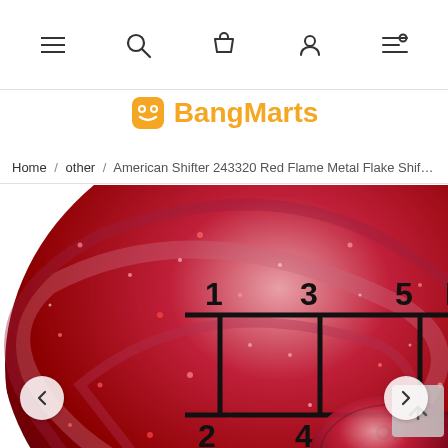Navigation bar with menu, search, cart, account, and filter icons
BangMarts
Home / other / American Shifter 243320 Red Flame Metal Flake Shift Knob w
[Figure (photo): Red metallic/glitter shift knob with 5-speed gear pattern engraved on top. Gear positions labeled: 1, 3, 5, R on top row; 2, 4, OH SHIT! on bottom row. The ball is deep red with sparkling metal flake finish and swirl pattern.]